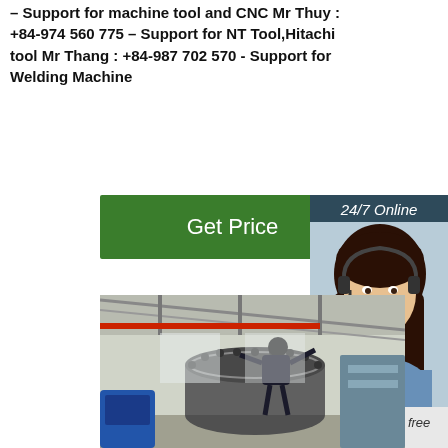Support for machine tool and CNC Mr Thuy : +84-974 560 775 – Support for NT Tool,Hitachi tool Mr Thang : +84-987 702 570 - Support for Welding Machine
Get Price
24/7 Online
[Figure (photo): Customer service representative woman with headset, smiling]
Click here for free chat !
QUOTATION
[Figure (photo): Factory worker working on large industrial pipe flanges in a manufacturing facility]